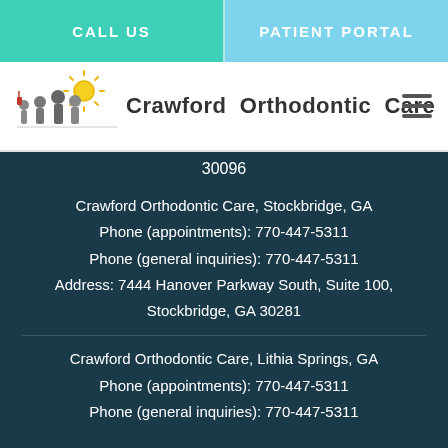CALL US
PATIENT PORTAL
[Figure (logo): Crawford Orthodontic Care logo with illustrated family and sun]
Crawford Orthodontic Care
30096
Crawford Orthodontic Care, Stockbridge, GA
Phone (appointments): 770-447-5311
Phone (general inquiries): 770-447-5311
Address: 7444 Hanover Parkway South, Suite 100, Stockbridge, GA 30281
Crawford Orthodontic Care, Lithia Springs, GA
Phone (appointments): 770-447-5311
Phone (general inquiries): 770-447-5311